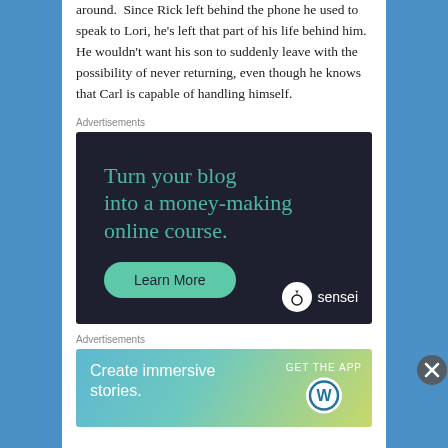around.  Since Rick left behind the phone he used to speak to Lori, he's left that part of his life behind him.  He wouldn't want his son to suddenly leave with the possibility of never returning, even though he knows that Carl is capable of handling himself.
Advertisements
[Figure (illustration): Dark-background advertisement for Sensei: 'Turn your blog into a money-making online course.' with a teal 'Learn More' button and the Sensei logo (tree icon + wordmark) at the bottom right.]
Advertisements
[Figure (illustration): WordPress advertisement with gradient background: 'Create immersive stories.' with 'GET THE APP' text and WordPress logo on the right.]